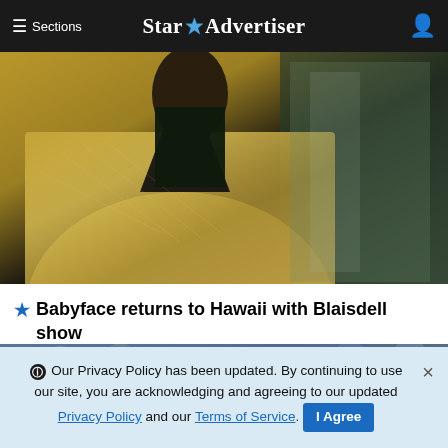≡ Sections  Star ✶ Advertiser
[Figure (photo): Photo of a person in a glittering gold/metallic blazer jacket, partial upper body visible]
★ Babyface returns to Hawaii with Blaisdell show
[Figure (photo): Photo of two elderly Asian men seated at what appears to be a celebration or banquet, both smiling, one wearing a red lei]
ℹ Our Privacy Policy has been updated. By continuing to use our site, you are acknowledging and agreeing to our updated Privacy Policy and our Terms of Service. I Agree